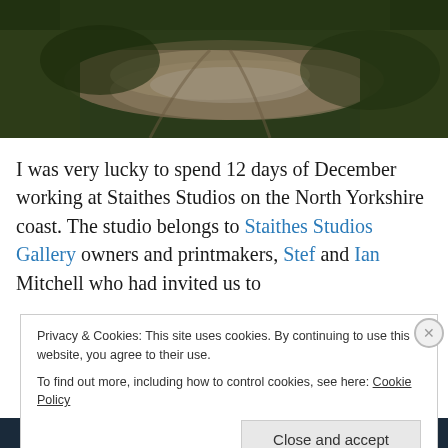[Figure (photo): Aerial or ground-level photo of a dirt path through green grass, dark earthy tones, top portion of the page.]
I was very lucky to spend 12 days of December working at Staithes Studios on the North Yorkshire coast. The studio belongs to Staithes Studios Gallery owners and printmakers, Stef and Ian Mitchell who had invited us to
Privacy & Cookies: This site uses cookies. By continuing to use this website, you agree to their use.
To find out more, including how to control cookies, see here: Cookie Policy
Close and accept